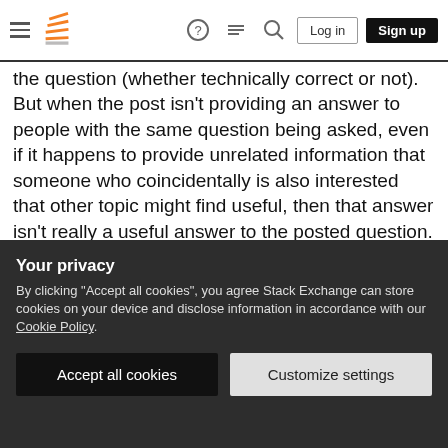Stack Exchange navigation bar with hamburger menu, logo, help, chat, search icons, Log in and Sign up buttons
the question (whether technically correct or not). But when the post isn't providing an answer to people with the same question being asked, even if it happens to provide unrelated information that someone who coincidentally is also interested that other topic might find useful, then that answer isn't really a useful answer to the posted question. That same post could become a useful answer if moved onto a better question, but it's not really useful where it is. Context is very relevant; answers cannot be evaluated in isolation; their usefulness is dependent on the context of the question they are
Your privacy
By clicking "Accept all cookies", you agree Stack Exchange can store cookies on your device and disclose information in accordance with our Cookie Policy.
Accept all cookies
Customize settings